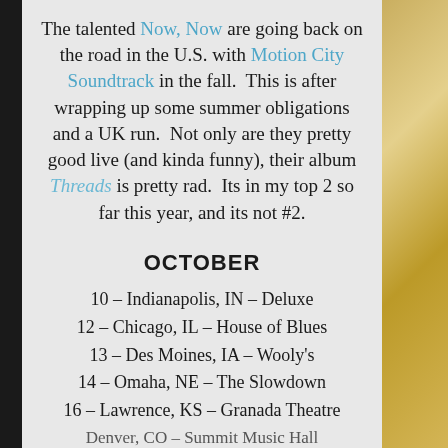The talented Now, Now are going back on the road in the U.S. with Motion City Soundtrack in the fall.  This is after wrapping up some summer obligations and a UK run.  Not only are they pretty good live (and kinda funny), their album Threads is pretty rad.  Its in my top 2 so far this year, and its not #2.
OCTOBER
10 – Indianapolis, IN – Deluxe
12 – Chicago, IL – House of Blues
13 – Des Moines, IA – Wooly's
14 – Omaha, NE – The Slowdown
16 – Lawrence, KS – Granada Theatre
Denver, CO – Summit Music Hall